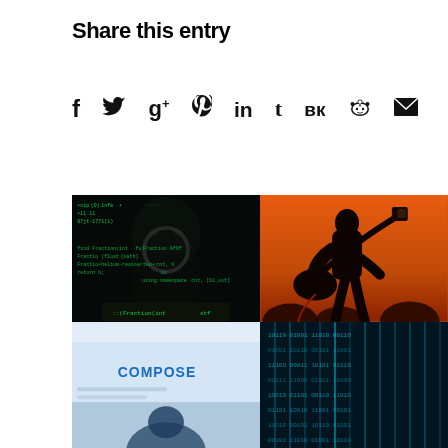Share this entry
[Figure (other): Social media sharing icons: Facebook, Twitter, Google+, Pinterest, LinkedIn, Tumblr, VK, Reddit, Email]
[Figure (photo): Hacker in hoodie with green code overlay on screen]
[Figure (photo): Silhouette of guitarist on orange/warm stage light background]
[Figure (photo): COMPOSE text visible on a blue/white email-like interface]
[Figure (photo): Blue/teal binary or matrix data stream background]